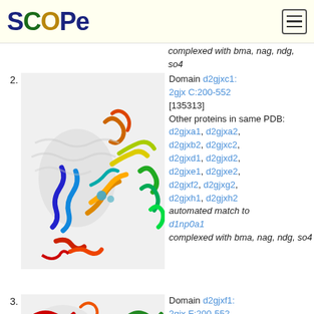[Figure (logo): SCOPe logo with colored letters and hamburger menu icon]
complexed with bma, nag, ndg, so4
2. Domain d2gjxc1: 2gjx C:200-552 [135313] Other proteins in same PDB: d2gjxa1, d2gjxa2, d2gjxb2, d2gjxc2, d2gjxd1, d2gjxd2, d2gjxe1, d2gjxe2, d2gjxf2, d2gjxg2, d2gjxh1, d2gjxh2 automated match to d1np0a1 complexed with bma, nag, ndg, so4
[Figure (illustration): 3D protein structure ribbon diagram for d2gjxc1, rainbow colored helices and strands]
3. Domain d2gjxf1: 2gjx F:200-552 [135315]
[Figure (illustration): 3D protein structure ribbon diagram for d2gjxf1, rainbow colored helices]